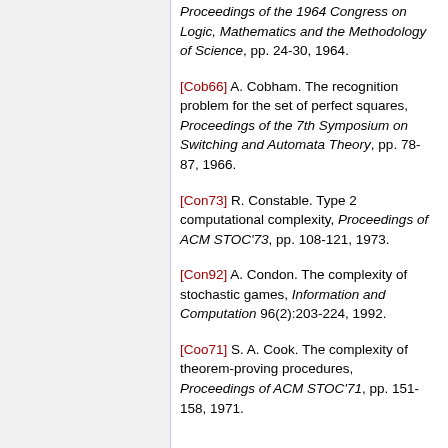[Cob66] A. Cobham. The recognition problem for the set of perfect squares, Proceedings of the 7th Symposium on Switching and Automata Theory, pp. 78-87, 1966.
[Con73] R. Constable. Type 2 computational complexity, Proceedings of ACM STOC'73, pp. 108-121, 1973.
[Con92] A. Condon. The complexity of stochastic games, Information and Computation 96(2):203-224, 1992.
[Coo71] S. A. Cook. The complexity of theorem-proving procedures, Proceedings of ACM STOC'71, pp. 151-158, 1971.